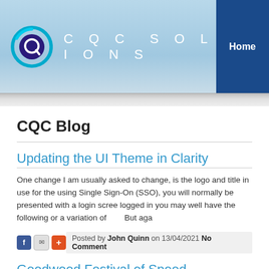CQC SOLUTIONS | Home
CQC Blog
Updating the UI Theme in Clarity
One change I am usually asked to change, is the logo and title in use for the using Single Sign-On (SSO), you will normally be presented with a login scree logged in you may well have the following or a variation of      But aga
Posted by John Quinn on 13/04/2021 No Comment
Goodwood Festival of Speed